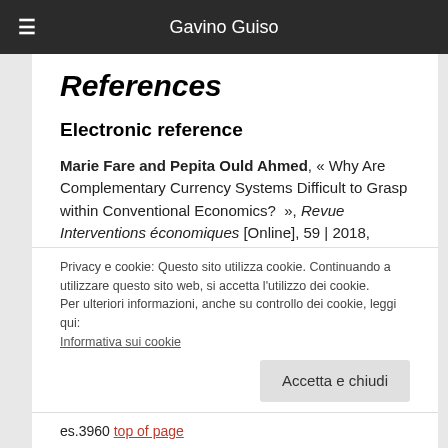Gavino Guiso
References
Electronic reference
Marie Fare and Pepita Ould Ahmed, « Why Are Complementary Currency Systems Difficult to Grasp within Conventional Economics? », Revue Interventions économiques [Online], 59 | 2018, Online since 01 January 2018, connection on 26
Privacy e cookie: Questo sito utilizza cookie. Continuando a utilizzare questo sito web, si accetta l'utilizzo dei cookie.
Per ulteriori informazioni, anche su controllo dei cookie, leggi qui:
Informativa sui cookie
Accetta e chiudi
es.3960 top of page